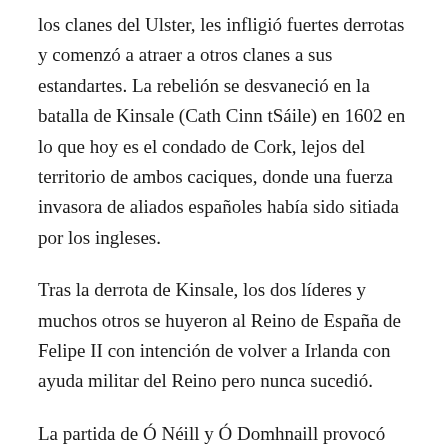los clanes del Ulster, les infligió fuertes derrotas y comenzó a atraer a otros clanes a sus estandartes. La rebelión se desvaneció en la batalla de Kinsale (Cath Cinn tSáile) en 1602 en lo que hoy es el condado de Cork, lejos del territorio de ambos caciques, donde una fuerza invasora de aliados españoles había sido sitiada por los ingleses.
Tras la derrota de Kinsale, los dos líderes y muchos otros se huyeron al Reino de España de Felipe II con intención de volver a Irlanda con ayuda militar del Reino pero nunca sucedió.
La partida de Ó Néill y Ó Domhnaill provocó una evacuación a gran escala de los líderes de los clanes que